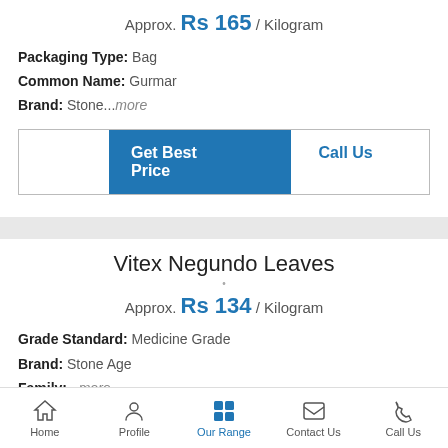Approx. Rs 165 / Kilogram
Packaging Type: Bag
Common Name: Gurmar
Brand: Stone...more
Get Best Price
Call Us
Vitex Negundo Leaves
Approx. Rs 134 / Kilogram
Grade Standard: Medicine Grade
Brand: Stone Age
Family:...more
Home   Profile   Our Range   Contact Us   Call Us